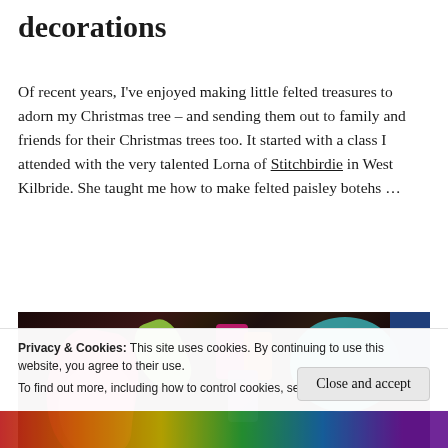decorations
Of recent years, I've enjoyed making little felted treasures to adorn my Christmas tree – and sending them out to family and friends for their Christmas trees too. It started with a class I attended with the very talented Lorna of Stitchbirdie in West Kilbride. She taught me how to make felted paisley botehs …
[Figure (photo): Photo of colourful felted paisley decorations and embroidery thread spools on a dark surface, with a teal bowl containing small items on the right.]
Privacy & Cookies: This site uses cookies. By continuing to use this website, you agree to their use.
To find out more, including how to control cookies, see here: Cookie Policy
[Figure (photo): Bottom strip showing colourful rainbow-coloured fabric or yarn.]